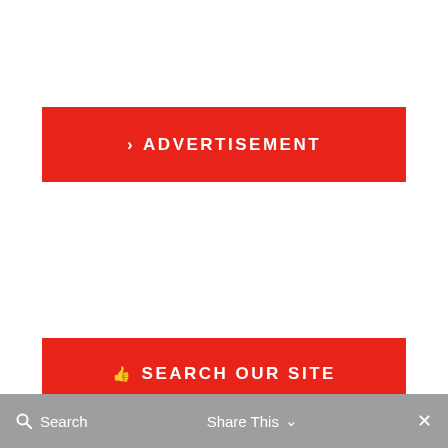[Figure (infographic): Red advertisement banner with white text reading '> ADVERTISEMENT' in bold uppercase letters with wide letter-spacing]
[Figure (infographic): Red search banner with white text reading a thumbs-up icon then 'SEARCH OUR SITE' in bold uppercase letters with wide letter-spacing]
[Figure (screenshot): White search input bar below the search banner]
Search   Share This ∨   ✕